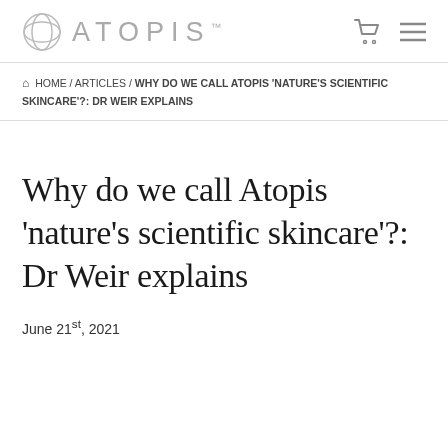ATOPIS
HOME / ARTICLES / WHY DO WE CALL ATOPIS ‘NATURE’S SCIENTIFIC SKINCARE’?: DR WEIR EXPLAINS
Why do we call Atopis ‘nature's scientific skincare’?: Dr Weir explains
June 21st, 2021